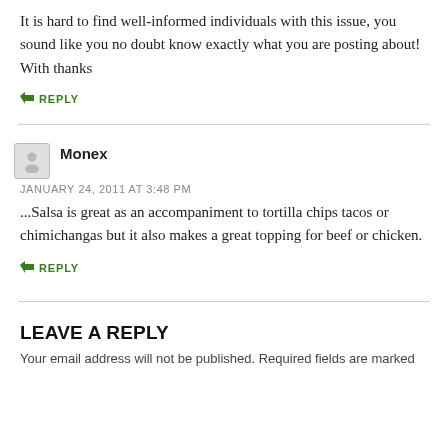It is hard to find well-informed individuals with this issue, you sound like you no doubt know exactly what you are posting about! With thanks
↳ REPLY
Monex
JANUARY 24, 2011 AT 3:48 PM
...Salsa is great as an accompaniment to tortilla chips tacos or chimichangas but it also makes a great topping for beef or chicken.
↳ REPLY
LEAVE A REPLY
Your email address will not be published. Required fields are marked